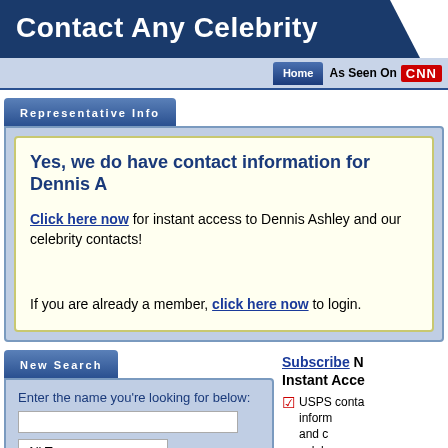Contact Any Celebrity
Home | As Seen On CNN
Representative Info
Yes, we do have contact information for Dennis A
Click here now for instant access to Dennis Ashley and our celebrity contacts!
If you are already a member, click here now to login.
New Search
Enter the name you're looking for below:
Subscribe Now! Instant Access - USPS contact information and celebrity contacts.